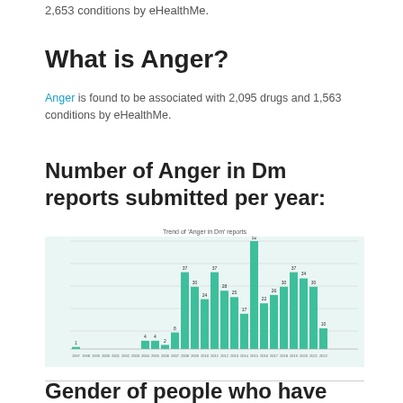2,653 conditions by eHealthMe.
What is Anger?
Anger is found to be associated with 2,095 drugs and 1,563 conditions by eHealthMe.
Number of Anger in Dm reports submitted per year:
[Figure (bar-chart): Trend of 'Anger in Dm' reports]
Gender of people who have